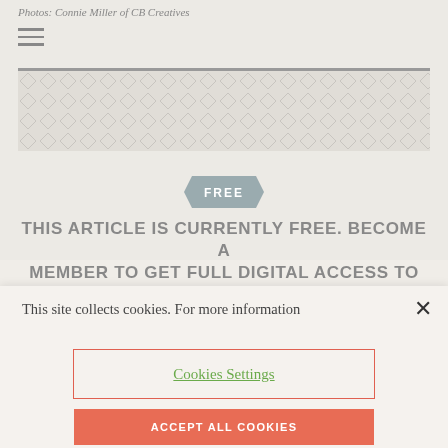Photos: Connie Miller of CB Creatives
[Figure (illustration): Hamburger menu icon (three horizontal lines)]
[Figure (illustration): Diamond/cross-hatch pattern banner area with horizontal rule above]
[Figure (illustration): Hexagonal badge with text FREE]
THIS ARTICLE IS CURRENTLY FREE. BECOME A MEMBER TO GET FULL DIGITAL ACCESS TO
This site collects cookies. For more information
Cookies Settings
ACCEPT ALL COOKIES